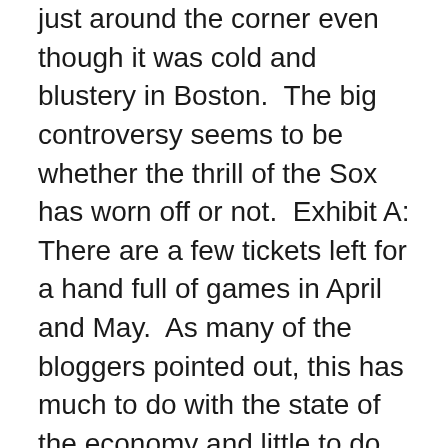just around the corner even though it was cold and blustery in Boston.  The big controversy seems to be whether the thrill of the Sox has worn off or not.  Exhibit A: There are a few tickets left for a hand full of games in April and May.  As many of the bloggers pointed out, this has much to do with the state of the economy and little to do with becoming jaded about the Sox.  See Mazz's Blog in Boston.com.
Meanwhile someone at work mentioned March Madness for the first time in a year.  My favorite league, the ACC, is busy with teams knocking each other off.  Question:  how do you maintain a high national ranking when everyone knows you will lose games in your league?  But, the North Carolina Tar Heels should, barring disaster in the ACC Tournament, get a number one seed.
The Boston Celtics are also readying themselves for the